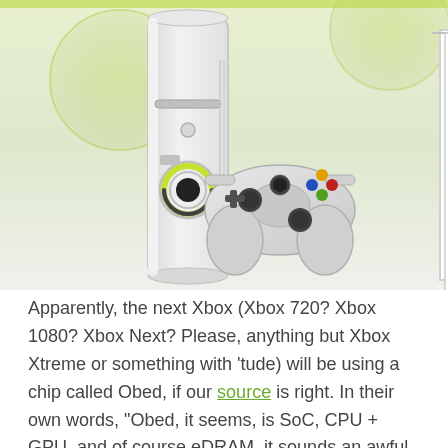[Figure (photo): Xbox 360 console and controller with collage of detail photos (ventilation grille, disc slot, green ring, analog sticks with colored buttons) on a light green/white gradient background]
Apparently, the next Xbox (Xbox 720? Xbox 1080? Xbox Next? Please, anything but Xbox Xtreme or something with 'tude) will be using a chip called Obed, if our source is right. In their own words, "Obed, it seems, is SoC, CPU + GPU, and of course eDRAM, it sounds an awful lot like an evolutionary version of the current XBox 360 chip." Furth...